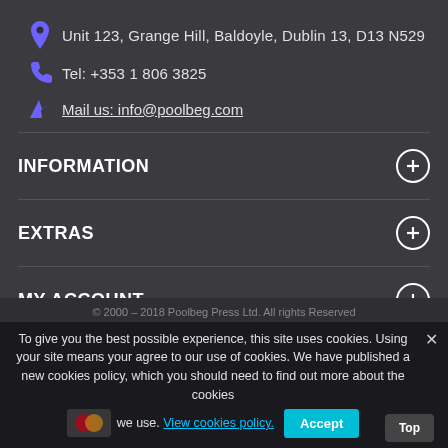Unit 123, Grange Hill, Baldoyle, Dublin 13, D13 N529
Tel: +353 1 806 3825
Mail us: info@poolbeg.com
INFORMATION
EXTRAS
MY ACCOUNT
CATEGORIES
© 2000 – 2018 Poolbeg Press Ltd. All rights Reserved
To give you the best possible experience, this site uses cookies. Using your site means your agree to our use of cookies. We have published a new cookies policy, which you should need to find out more about the cookies we use. View cookies policy.